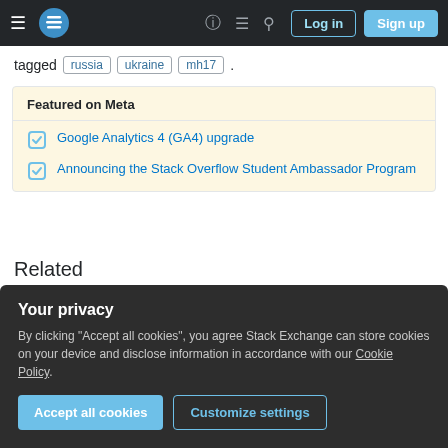Stack Exchange navigation bar with hamburger menu, logo, help, chat, search icons, Log in and Sign up buttons
tagged russia ukraine mh17 .
Featured on Meta
Google Analytics 4 (GA4) upgrade
Announcing the Stack Overflow Student Ambassador Program
Related
10   Was the video about MH17 done the day before it crashed?
Your privacy
By clicking "Accept all cookies", you agree Stack Exchange can store cookies on your device and disclose information in accordance with our Cookie Policy.
Accept all cookies   Customize settings
What is the origin of this photo of an unexploded bomb?